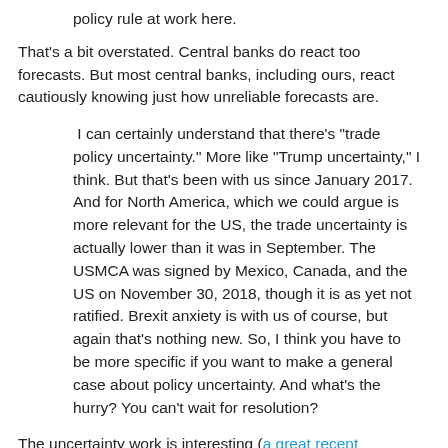policy rule at work here.
That's a bit overstated. Central banks do react too forecasts. But most central banks, including ours, react cautiously knowing just how unreliable forecasts are.
I can certainly understand that there's "trade policy uncertainty." More like "Trump uncertainty," I think. But that's been with us since January 2017. And for North America, which we could argue is more relevant for the US, the trade uncertainty is actually lower than it was in September. The USMCA was signed by Mexico, Canada, and the US on November 30, 2018, though it is as yet not ratified. Brexit anxiety is with us of course, but again that's nothing new. So, I think you have to be more specific if you want to make a general case about policy uncertainty. And what's the hurry? You can't wait for resolution?
The uncertainty work is interesting (a great recent example).